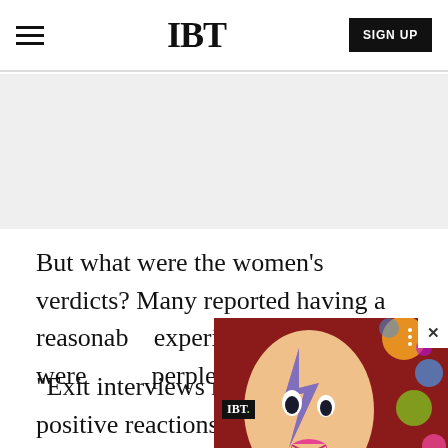IBT
[Figure (other): Gray advertisement placeholder area]
But what were the women's verdicts? Many reported having a reasonable experiment, but some were perplexed.
[Figure (other): IBT video popup overlay showing a colorfully painted face (Ziggy Stardust style) against a red background with floating spheres. Popup caption reads: New Spider Genus, Several New Species...]
"Exit interviews revealed mainly positive reactions of women concerning the experiment varying from